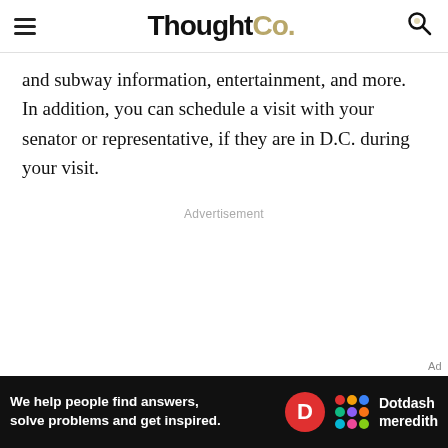ThoughtCo.
and subway information, entertainment, and more. In addition, you can schedule a visit with your senator or representative, if they are in D.C. during your visit.
Advertisement
[Figure (other): Dotdash Meredith advertisement banner: 'We help people find answers, solve problems and get inspired.' with Dotdash Meredith logo on dark background.]